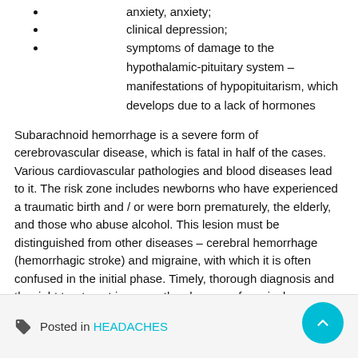anxiety, anxiety;
clinical depression;
symptoms of damage to the hypothalamic-pituitary system – manifestations of hypopituitarism, which develops due to a lack of hormones
Subarachnoid hemorrhage is a severe form of cerebrovascular disease, which is fatal in half of the cases. Various cardiovascular pathologies and blood diseases lead to it. The risk zone includes newborns who have experienced a traumatic birth and / or were born prematurely, the elderly, and those who abuse alcohol. This lesion must be distinguished from other diseases – cerebral hemorrhage (hemorrhagic stroke) and migraine, with which it is often confused in the initial phase. Timely, thorough diagnosis and the right treatment increase the chances of survival.
Posted in HEADACHES